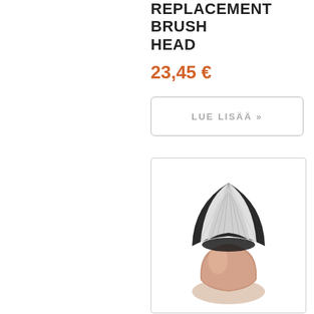REPLACEMENT BRUSH HEAD
23,45 €
LUE LISÄÄ »
[Figure (photo): A kabuki-style replacement brush head with black and white synthetic bristles fanning out at the top and a rounded rose gold metallic base.]